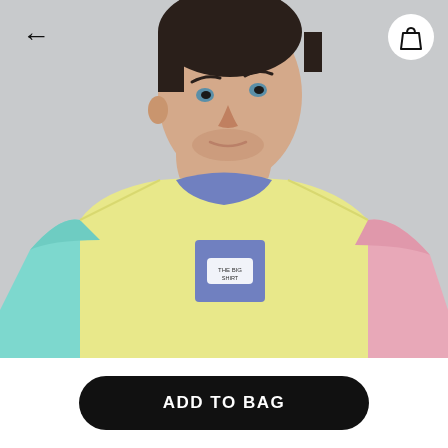[Figure (photo): Male model wearing a colorblock t-shirt with yellow body, blue/periwinkle collar and chest pocket, teal/mint left sleeve, and pink right sleeve. Gray background. Back arrow navigation icon top-left, shopping bag icon top-right.]
ADD TO BAG